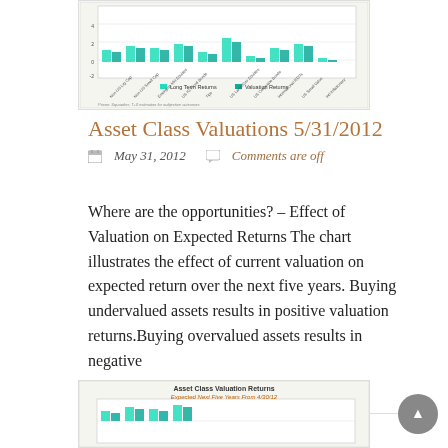[Figure (bar-chart): Asset Class Valuation Returns chart showing long term returns vs valuation returns for various asset classes. Partial view at top of page.]
Asset Class Valuations 5/31/2012
May 31, 2012   Comments are off
Where are the opportunities? – Effect of Valuation on Expected Returns The chart illustrates the effect of current valuation on expected return over the next five years. Buying undervalued assets results in positive valuation returns.Buying overvalued assets results in negative
Continue Reading →
[Figure (bar-chart): Asset Class Valuation Returns - Expected Next Five Years From 4/30/12. Partial view at bottom of page.]